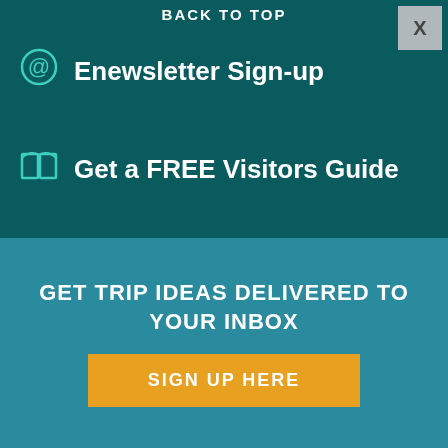BACK TO TOP
Enewsletter Sign-up
Get a FREE Visitors Guide
Special Offers and Packages
FOLLOW US #ThePalmBeaches
We serve cookies to analyze traffic and customize content on this site.
GET TRIP IDEAS DELIVERED TO YOUR INBOX
SIGN UP HERE